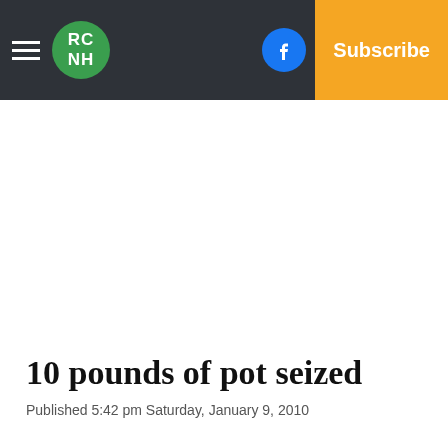RC NH | Facebook | Twitter | Log In | Subscribe
10 pounds of pot seized
Published 5:42 pm Saturday, January 9, 2010